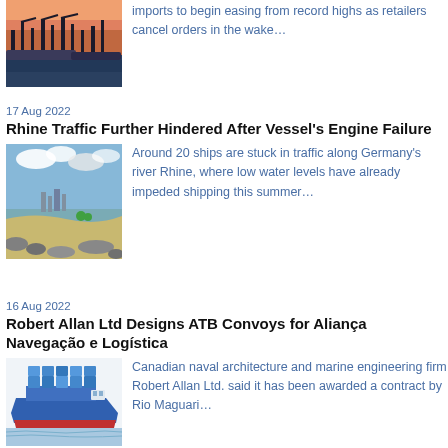[Figure (photo): Container port with cranes at dusk]
imports to begin easing from record highs as retailers cancel orders in the wake…
17 Aug 2022
Rhine Traffic Further Hindered After Vessel's Engine Failure
[Figure (photo): River Rhine with sandy banks and low water levels]
Around 20 ships are stuck in traffic along Germany's river Rhine, where low water levels have already impeded shipping this summer…
16 Aug 2022
Robert Allan Ltd Designs ATB Convoys for Aliança Navegação e Logística
[Figure (photo): Blue cargo vessel illustration]
Canadian naval architecture and marine engineering firm Robert Allan Ltd. said it has been awarded a contract by Rio Maguari…